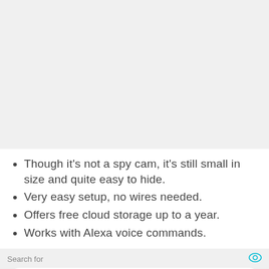Though it's not a spy cam, it's still small in size and quite easy to hide.
Very easy setup, no wires needed.
Offers free cloud storage up to a year.
Works with Alexa voice commands.
Search for
1  TOP 10 HIDDEN CAMERAS TO BUY
2  MIRROR HIDDEN CAMERA